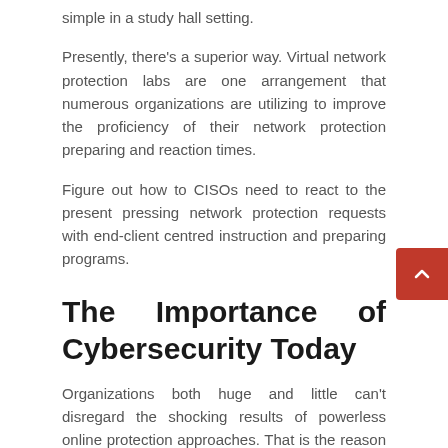simple in a study hall setting.
Presently, there's a superior way. Virtual network protection labs are one arrangement that numerous organizations are utilizing to improve the proficiency of their network protection preparing and reaction times.
Figure out how to CISOs need to react to the present pressing network protection requests with end-client centred instruction and preparing programs.
The Importance of Cybersecurity Today
Organizations both huge and little can't disregard the shocking results of powerless online protection approaches. That is the reason corporate spending on online protection went up 9% on normal per organization a year ago as per Juniper's 2018 Cybercrime Report.
This measurement isn't astonishing thinking about the number of information penetrates have unfolded on the